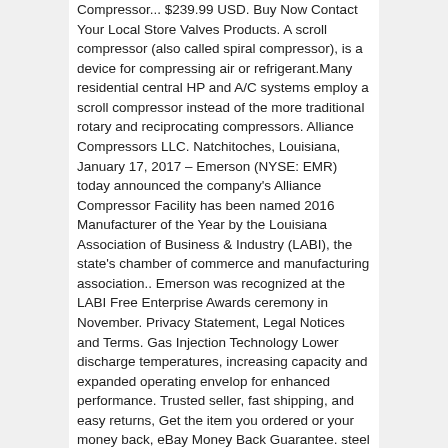Compressor... $239.99 USD. Buy Now Contact Your Local Store Valves Products. A scroll compressor (also called spiral compressor), is a device for compressing air or refrigerant.Many residential central HP and A/C systems employ a scroll compressor instead of the more traditional rotary and reciprocating compressors. Alliance Compressors LLC. Natchitoches, Louisiana, January 17, 2017 – Emerson (NYSE: EMR) today announced the company's Alliance Compressor Facility has been named 2016 Manufacturer of the Year by the Louisiana Association of Business & Industry (LABI), the state's chamber of commerce and manufacturing association.. Emerson was recognized at the LABI Free Enterprise Awards ceremony in November. Privacy Statement, Legal Notices and Terms. Gas Injection Technology Lower discharge temperatures, increasing capacity and expanded operating envelop for enhanced performance. Trusted seller, fast shipping, and easy returns, Get the item you ordered or your money back, eBay Money Back Guarantee. steel wrist and dowel pins to resist road damage, Pressure relief valves that guard against abnormal pressure conditions, Field clutch diodes that prevent electrical damage caused by voltage surges, Swedish steel reed valve assemblies are highly finished for